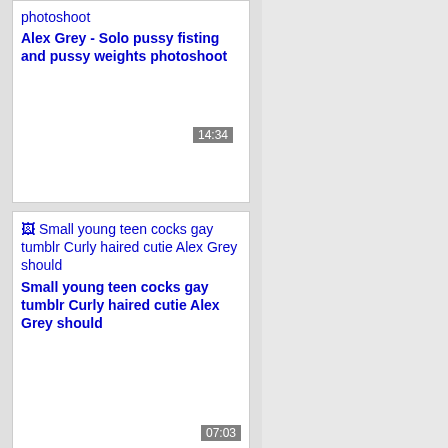[Figure (screenshot): Video thumbnail card - Alex Grey solo photoshoot with timestamp 14:34]
Alex Grey - Solo pussy fisting and pussy weights photoshoot
[Figure (screenshot): Video thumbnail card - Small young teen cocks gay tumblr Curly haired cutie Alex Grey should with timestamp 07:03]
Small young teen cocks gay tumblr Curly haired cutie Alex Grey should
[Figure (screenshot): Video thumbnail card - Tiny boy huge cock movisturas gay Curly haired (partially visible)]